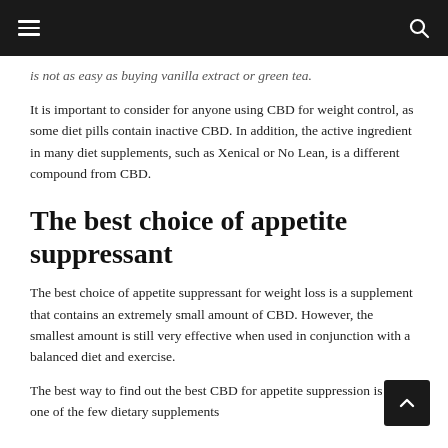Navigation bar with menu and search icons
is not as easy as buying vanilla extract or green tea.
It is important to consider for anyone using CBD for weight control, as some diet pills contain inactive CBD. In addition, the active ingredient in many diet supplements, such as Xenical or No Lean, is a different compound from CBD.
The best choice of appetite suppressant
The best choice of appetite suppressant for weight loss is a supplement that contains an extremely small amount of CBD. However, the smallest amount is still very effective when used in conjunction with a balanced diet and exercise.
The best way to find out the best CBD for appetite suppression is to try one of the few dietary supplements